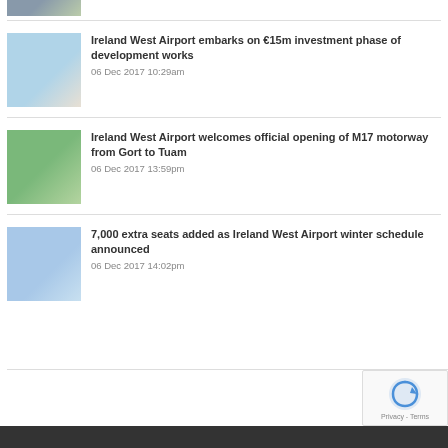[Figure (photo): Partial thumbnail of an article image at top, cropped]
Ireland West Airport embarks on €15m investment phase of development works
06 Dec 2017 10:29am
Ireland West Airport welcomes official opening of M17 motorway from Gort to Tuam
06 Dec 2017 13:59pm
7,000 extra seats added as Ireland West Airport winter schedule announced
06 Dec 2017 14:02pm